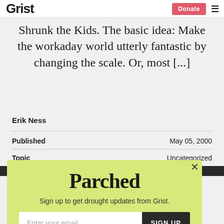Grist | Donate | Menu
Shrunk the Kids. The basic idea: Make the workaday world utterly fantastic by changing the scale. Or, most [...]
Erik Ness
Published  May 05, 2000
Topic  Uncategorized
[Figure (other): Parched newsletter signup modal with yellow-green background, Parched logo, subtitle 'Sign up to get drought updates from Grist.', email input field, SIGN UP button, and 'No thanks' link]